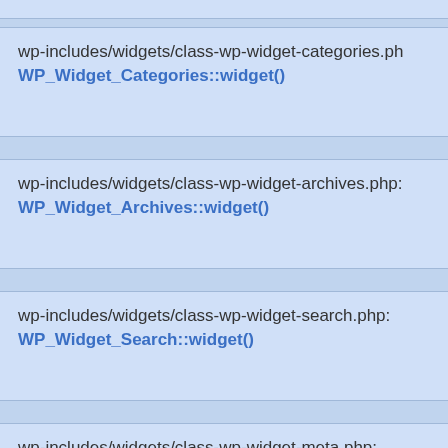wp-includes/widgets/class-wp-widget-categories.ph
WP_Widget_Categories::widget()
wp-includes/widgets/class-wp-widget-archives.php:
WP_Widget_Archives::widget()
wp-includes/widgets/class-wp-widget-search.php:
WP_Widget_Search::widget()
wp-includes/widgets/class-wp-widget-meta.php: